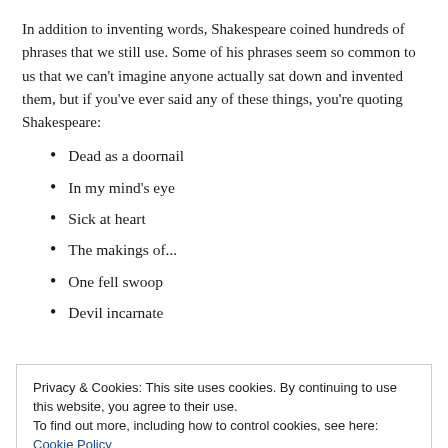In addition to inventing words, Shakespeare coined hundreds of phrases that we still use. Some of his phrases seem so common to us that we can't imagine anyone actually sat down and invented them, but if you've ever said any of these things, you're quoting Shakespeare:
Dead as a doornail
In my mind's eye
Sick at heart
The makings of...
One fell swoop
Devil incarnate
Privacy & Cookies: This site uses cookies. By continuing to use this website, you agree to their use. To find out more, including how to control cookies, see here: Cookie Policy
For goodness' sake